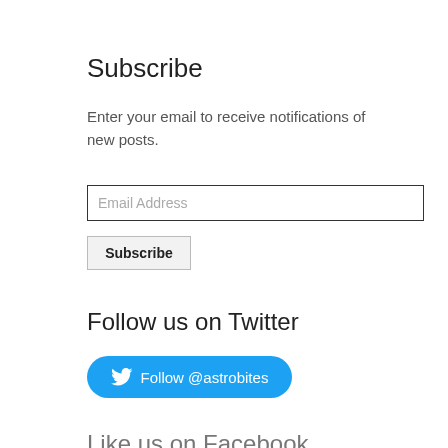Subscribe
Enter your email to receive notifications of new posts.
Email Address
Subscribe
Follow us on Twitter
Follow @astrobites
Like us on Facebook
More Posts About
cosmology
AGN
gravitational waves